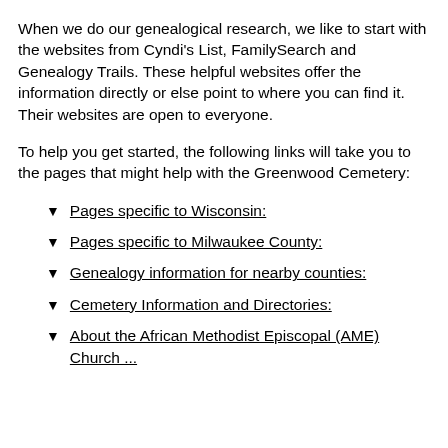When we do our genealogical research, we like to start with the websites from Cyndi's List, FamilySearch and Genealogy Trails. These helpful websites offer the information directly or else point to where you can find it. Their websites are open to everyone.
To help you get started, the following links will take you to the pages that might help with the Greenwood Cemetery:
Pages specific to Wisconsin:
Pages specific to Milwaukee County:
Genealogy information for nearby counties:
Cemetery Information and Directories:
About the African Methodist Episcopal (AME) Church ...